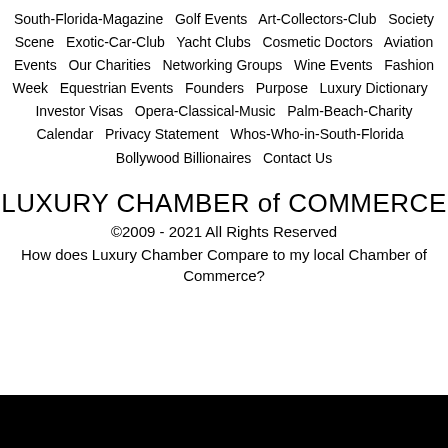South-Florida-Magazine   Golf Events   Art-Collectors-Club   Society Scene   Exotic-Car-Club   Yacht Clubs   Cosmetic Doctors   Aviation Events   Our Charities   Networking Groups   Wine Events   Fashion Week   Equestrian Events   Founders   Purpose   Luxury Dictionary   Investor Visas   Opera-Classical-Music   Palm-Beach-Charity Calendar   Privacy Statement   Whos-Who-in-South-Florida   Bollywood Billionaires   Contact Us
LUXURY CHAMBER of COMMERCE
©2009 - 2021 All Rights Reserved
How does Luxury Chamber Compare to my local Chamber of Commerce?